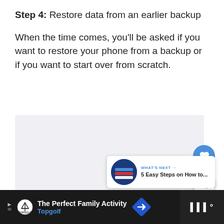Step 4: Restore data from an earlier backup
When the time comes, you'll be asked if you want to restore your phone from a backup or if you want to start over from scratch.
[Figure (screenshot): Placeholder image area, light gray background]
[Figure (infographic): What's Next card: 5 Easy Steps on How to...]
[Figure (infographic): Advertisement bar: The Perfect Family Activity - Topgolf]